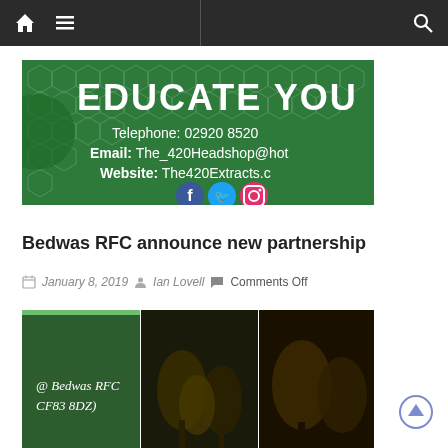Navigation bar with home icon, menu icon, and search icon
[Figure (screenshot): Green hexagon-patterned banner reading 'EDUCATE YOU[R]' in large white bold text, with Telephone: 02920 8520[x], Email: The_420Headshop@hot[mail], Website: The420Extracts.c[om], and three social media icons (Facebook, Twitter, Instagram)]
Bedwas RFC announce new partnership
January 8, 2019  Ian Lovell  Comments Off
[Figure (photo): Partial photo showing Bedwas RFC text on a green board ('@ Bedwas RFC CF83 8DZ)') and a nighttime outdoor scene with trees]